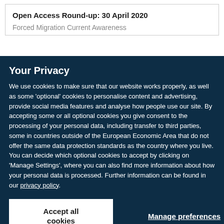Open Access Round-up: 30 April 2020
Forced Migration Current Awareness
Your Privacy
We use cookies to make sure that our website works properly, as well as some 'optional' cookies to personalise content and advertising, provide social media features and analyse how people use our site. By accepting some or all optional cookies you give consent to the processing of your personal data, including transfer to third parties, some in countries outside of the European Economic Area that do not offer the same data protection standards as the country where you live. You can decide which optional cookies to accept by clicking on 'Manage Settings', where you can also find more information about how your personal data is processed. Further information can be found in our privacy policy.
Accept all cookies
Manage preferences